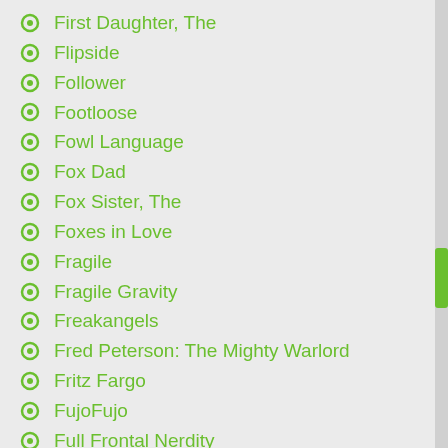First Daughter, The
Flipside
Follower
Footloose
Fowl Language
Fox Dad
Fox Sister, The
Foxes in Love
Fragile
Fragile Gravity
Freakangels
Fred Peterson: The Mighty Warlord
Fritz Fargo
FujoFujo
Full Frontal Nerdity
Funny Farm
Fur Piled